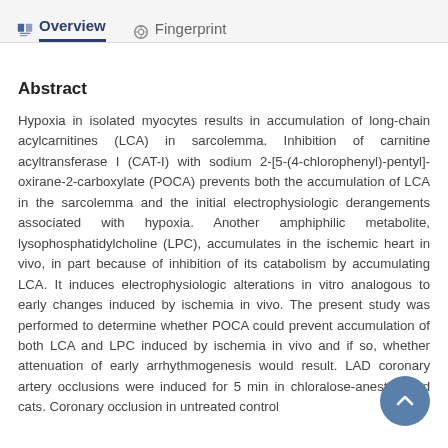Overview   Fingerprint
Abstract
Hypoxia in isolated myocytes results in accumulation of long-chain acylcarnitines (LCA) in sarcolemma. Inhibition of carnitine acyltransferase I (CAT-I) with sodium 2-[5-(4-chlorophenyl)-pentyl]-oxirane-2-carboxylate (POCA) prevents both the accumulation of LCA in the sarcolemma and the initial electrophysiologic derangements associated with hypoxia. Another amphiphilic metabolite, lysophosphatidylcholine (LPC), accumulates in the ischemic heart in vivo, in part because of inhibition of its catabolism by accumulating LCA. It induces electrophysiologic alterations in vitro analogous to early changes induced by ischemia in vivo. The present study was performed to determine whether POCA could prevent accumulation of both LCA and LPC induced by ischemia in vivo and if so, whether attenuation of early arrhythmogenesis would result. LAD coronary artery occlusions were induced for 5 min in chloralose-anesthetized cats. Coronary occlusion in untreated control